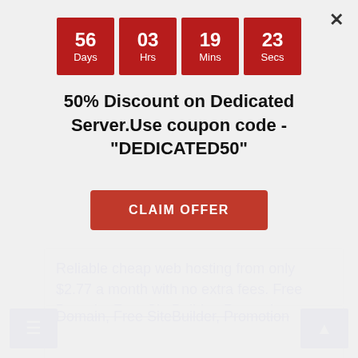[Figure (other): Countdown timer with four red boxes showing 56 Days, 03 Hrs, 19 Mins, 23 Secs]
50% Discount on Dedicated Server.Use coupon code -"DEDICATED50"
CLAIM OFFER
Reliable cheap web hosting from only $2.77 a month with no extra fees. Free Domain, Free SiteBuilder, Promotion
FastComet – 70% Off+ FREE Migration & free CDN.SSD-Only Cloud.Free daily and weekly backups
RankPay | Digital Marketing Solutions | SEO, PPC,